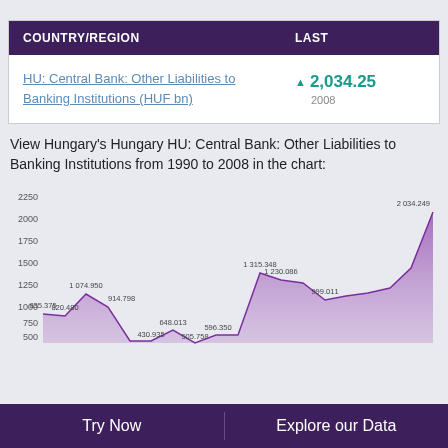| COUNTRY/REGION | LAST |
| --- | --- |
| HU: Central Bank: Other Liabilities to Banking Institutions (HUF bn) | ▲ 2,034.25
2008 |
View Hungary's Hungary HU: Central Bank: Other Liabilities to Banking Institutions from 1990 to 2008 in the chart:
[Figure (area-chart): HU: Central Bank: Other Liabilities to Banking Institutions]
Try Now    Explore our Data